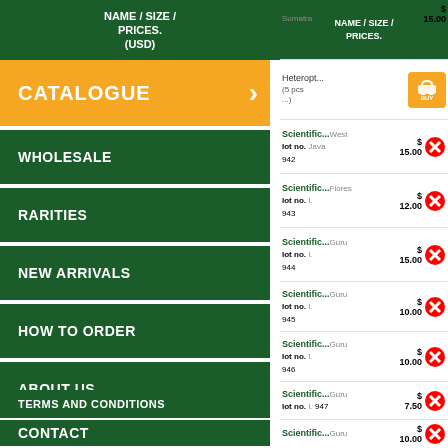NAME / SIZE / PRICES. (USD)
CATALOGUE
WHOLESALE
RARITIES
NEW ARRIVALS
HOW TO ORDER
ABOUT US
TERMS AND CONDITIONS
CONTACT
Scientific... Sumatra $ 15.00
Scientific... West Java lot no. 942 $ 15.00
Scientific... Flores lot no. 943 $ 12.00
Scientific... Guru lot no. 944 $ 15.00
Scientific... Guru lot no. 945 $ 10.00
Scientific... Guru lot no. 946 $ 10.00
Scientific... Guru lot no. 947 $ 7.50
Scientific... Guru lot no. 948 $ 10.00